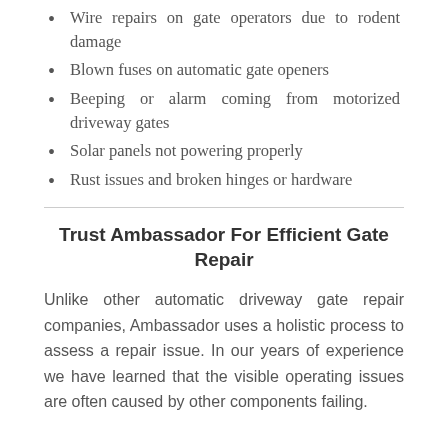Wire repairs on gate operators due to rodent damage
Blown fuses on automatic gate openers
Beeping or alarm coming from motorized driveway gates
Solar panels not powering properly
Rust issues and broken hinges or hardware
Trust Ambassador For Efficient Gate Repair
Unlike other automatic driveway gate repair companies, Ambassador uses a holistic process to assess a repair issue. In our years of experience we have learned that the visible operating issues are often caused by other components failing.